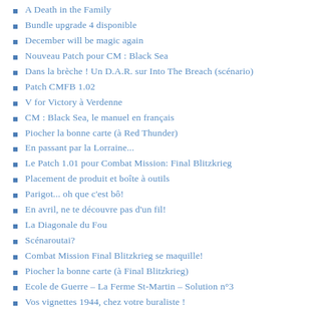A Death in the Family
Bundle upgrade 4 disponible
December will be magic again
Nouveau Patch pour CM : Black Sea
Dans la brèche ! Un D.A.R. sur Into The Breach (scénario)
Patch CMFB 1.02
V for Victory à Verdenne
CM : Black Sea, le manuel en français
Piocher la bonne carte (à Red Thunder)
En passant par la Lorraine...
Le Patch 1.01 pour Combat Mission: Final Blitzkrieg
Placement de produit et boîte à outils
Parigot... oh que c'est bô!
En avril, ne te découvre pas d'un fil!
La Diagonale du Fou
Scénaroutai?
Combat Mission Final Blitzkrieg se maquille!
Piocher la bonne carte (à Final Blitzkrieg)
Ecole de Guerre – La Ferme St-Martin – Solution n°3
Vos vignettes 1944, chez votre buraliste !
Dou iou spik frènch?
Chuuuut – Final Blitzkrieg est sorti – mais ne le dites à personne !
Ils sont frais mes Bradley!
Tendances mods automne-hiver 1944 – 1945